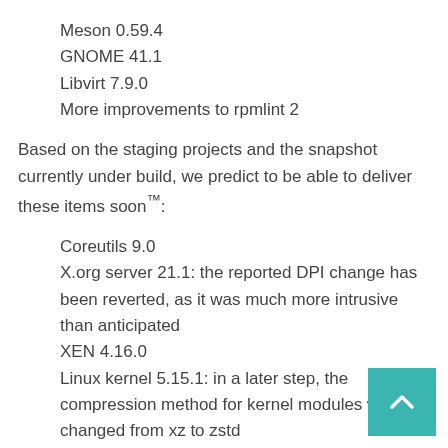Meson 0.59.4
GNOME 41.1
Libvirt 7.9.0
More improvements to rpmlint 2
Based on the staging projects and the snapshot currently under build, we predict to be able to deliver these items soon™:
Coreutils 9.0
X.org server 21.1: the reported DPI change has been reverted, as it was much more intrusive than anticipated
XEN 4.16.0
Linux kernel 5.15.1: in a later step, the compression method for kernel modules will be changed from xz to zstd
Rust 1.56
ICU 70.1